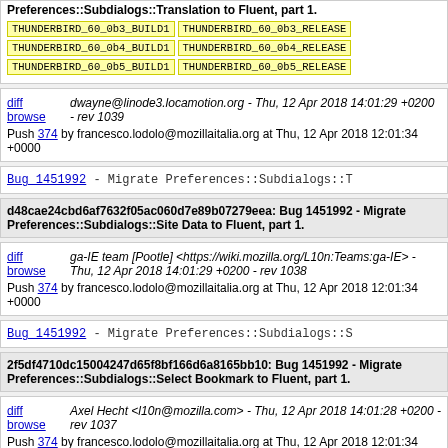Preferences::Subdialogs::Translation to Fluent, part 1.
THUNDERBIRD_60_0b3_BUILD1  THUNDERBIRD_60_0b3_RELEASE
THUNDERBIRD_60_0b4_BUILD1  THUNDERBIRD_60_0b4_RELEASE
THUNDERBIRD_60_0b5_BUILD1  THUNDERBIRD_60_0b5_RELEASE
diff browse  dwayne@linode3.locamotion.org - Thu, 12 Apr 2018 14:01:29 +0200 - rev 1039
Push 374 by francesco.lodolo@mozillaitalia.org at Thu, 12 Apr 2018 12:01:34 +0000
Bug_1451992 - Migrate Preferences::Subdialogs::T
d48cae24cbd6af7632f05ac060d7e89b07279eea: Bug 1451992 - Migrate Preferences::Subdialogs::Site Data to Fluent, part 1.
diff browse  ga-IE team [Pootle] <https://wiki.mozilla.org/L10n:Teams:ga-IE> - Thu, 12 Apr 2018 14:01:29 +0200 - rev 1038
Push 374 by francesco.lodolo@mozillaitalia.org at Thu, 12 Apr 2018 12:01:34 +0000
Bug_1451992 - Migrate Preferences::Subdialogs::S
2f5df4710dc15004247d65f8bf166d6a8165bb10: Bug 1451992 - Migrate Preferences::Subdialogs::Select Bookmark to Fluent, part 1.
diff browse  Axel Hecht <l10n@mozilla.com> - Thu, 12 Apr 2018 14:01:28 +0200 - rev 1037
Push 374 by francesco.lodolo@mozillaitalia.org at Thu, 12 Apr 2018 12:01:34 +0000